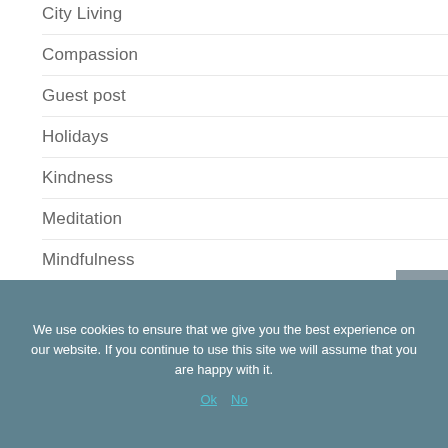City Living
Compassion
Guest post
Holidays
Kindness
Meditation
Mindfulness
Personal Blog
Relationships
We use cookies to ensure that we give you the best experience on our website. If you continue to use this site we will assume that you are happy with it.
Ok   No